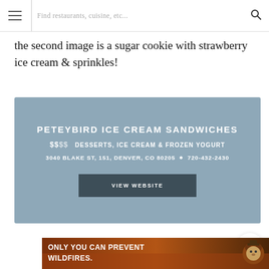Find restaurants, cuisine, etc...
the second image is a sugar cookie with strawberry ice cream & sprinkles!
[Figure (infographic): Promotional card for Peteybird Ice Cream Sandwiches showing restaurant name, price range ($$$$), category (Desserts, Ice Cream & Frozen Yogurt), address (3040 Blake St, 151, Denver, CO 80205), phone (720-432-2430), and a VIEW WEBSITE button. Background is muted steel blue.]
[Figure (photo): Bottom advertisement banner: Only You Can Prevent Wildfires - Smokey Bear public service announcement with brown/orange background and Smokey Bear character on the right.]